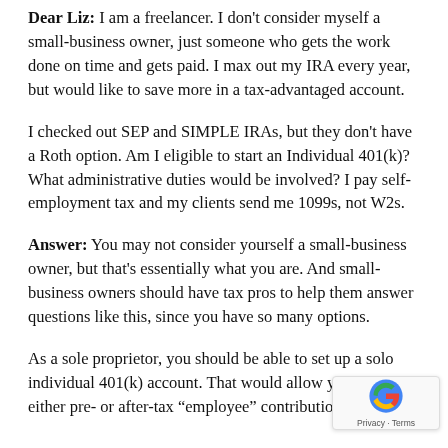Dear Liz: I am a freelancer. I don't consider myself a small-business owner, just someone who gets the work done on time and gets paid. I max out my IRA every year, but would like to save more in a tax-advantaged account.
I checked out SEP and SIMPLE IRAs, but they don't have a Roth option. Am I eligible to start an Individual 401(k)? What administrative duties would be involved? I pay self-employment tax and my clients send me 1099s, not W2s.
Answer: You may not consider yourself a small-business owner, but that's essentially what you are. And small-business owners should have tax pros to help them answer questions like this, since you have so many options.
As a sole proprietor, you should be able to set up a solo individual 401(k) account. That would allow you to make either pre- or after-tax "employee" contributions of up to